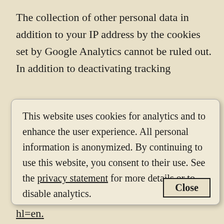The collection of other personal data in addition to your IP address by the cookies set by Google Analytics cannot be ruled out. In addition to deactivating tracking
This website uses cookies for analytics and to enhance the user experience. All personal information is anonymized. By continuing to use this website, you consent to their use. See the privacy statement for more details or to disable analytics.
Close
hl=en.